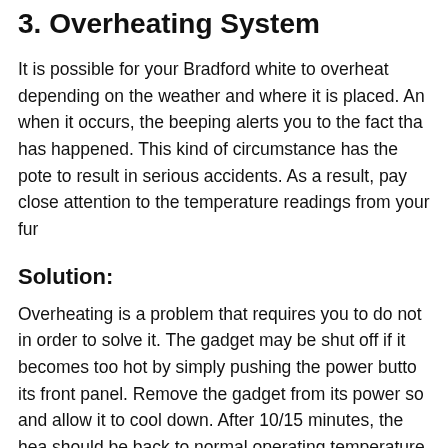3. Overheating System
It is possible for your Bradford white to overheat depending on the weather and where it is placed. And when it occurs, the beeping alerts you to the fact that has happened. This kind of circumstance has the potential to result in serious accidents. As a result, pay close attention to the temperature readings from your fur
Solution:
Overheating is a problem that requires you to do not in order to solve it. The gadget may be shut off if it becomes too hot by simply pushing the power button its front panel. Remove the gadget from its power so and allow it to cool down. After 10/15 minutes, the heat should be back to normal operating temperature. It is recommended to use water or anything else to cool t